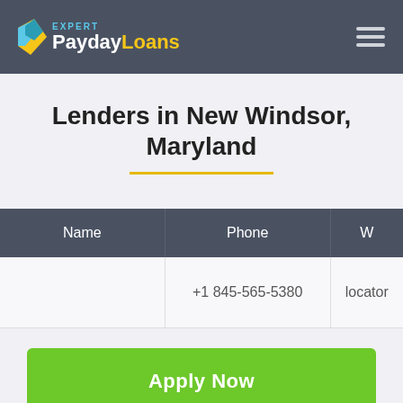EXPERT PaydayLoans
Lenders in New Windsor, Maryland
| Name | Phone | W |
| --- | --- | --- |
|  | +1 845-565-5380 | locator |
Apply Now
Applying does NOT affect your credit score! No credit check to apply.